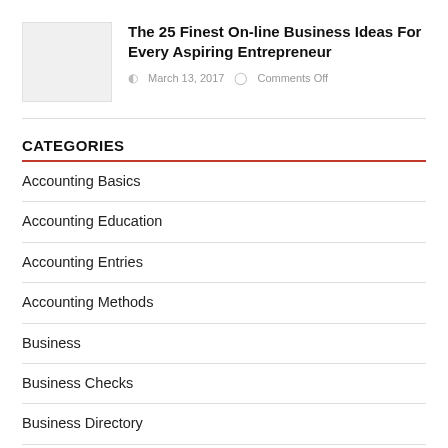[Figure (photo): Small thumbnail image placeholder, light gray background]
The 25 Finest On-line Business Ideas For Every Aspiring Entrepreneur
March 13, 2017   Comments Off
CATEGORIES
Accounting Basics
Accounting Education
Accounting Entries
Accounting Methods
Business
Business Checks
Business Directory
Business Environment